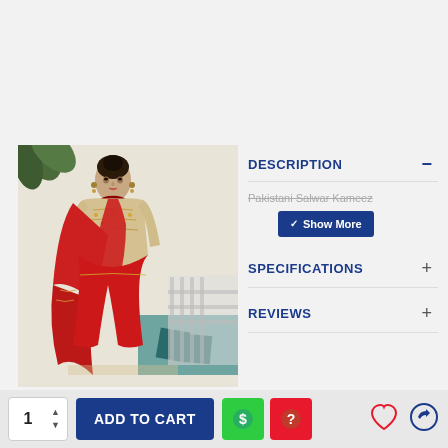[Figure (photo): A woman wearing a beige/cream Pakistani Salwar Kameez with red dupatta, heavily embroidered, posing in front of a white wall with decorative elements.]
DESCRIPTION
Pakistani Salwar Kameez
Show More
SPECIFICATIONS
REVIEWS
1
ADD TO CART